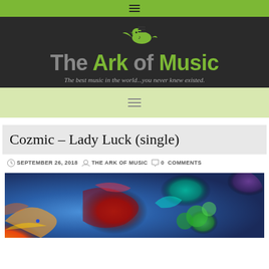The Ark of Music — The best music in the world...you never knew existed.
Cozmic – Lady Luck (single)
SEPTEMBER 26, 2018 | THE ARK OF MUSIC | 0 COMMENTS
[Figure (photo): Colorful abstract paint photograph with blue, orange, red, and green hues — album art for Cozmic Lady Luck single]